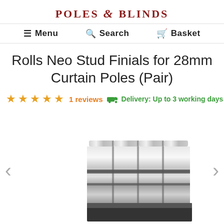POLES & BLINDS
Menu  Search  Basket
Rolls Neo Stud Finials for 28mm Curtain Poles (Pair)
★★★★★ 1 reviews  Delivery: Up to 3 working days
[Figure (photo): Close-up photo of chrome/nickel stud finials for curtain poles, showing multiple cylindrical metallic finials with grooved detail]